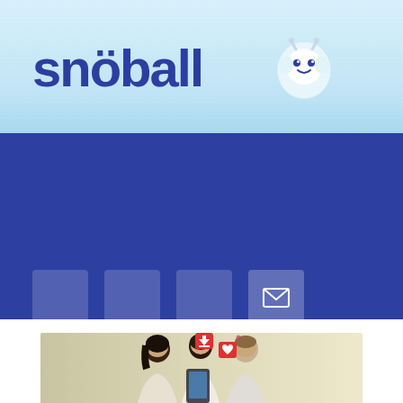[Figure (logo): Snöball logo with yeti/snowman mascot icon in light blue header]
[Figure (infographic): Dark blue band with four social media icon squares at the bottom left, the fourth showing an email/envelope icon]
[Figure (photo): Three people looking at a phone with social notification icons floating above them, against a beige/cream background]